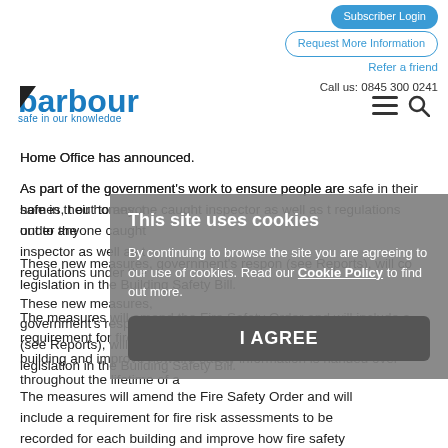Subscriber Login | Request More Information | Refer a friend | Call us: 0845 300 0241
[Figure (logo): Barbour logo – 'barbour safe in our knowledge' in blue with a stylized b]
Home Office has announced.
As part of the government's work to ensure people are safe in their homes, the measures set out to anyone caught... inspector as well as the regulations under the...
These new measures, government's response (see Reports), will co... legislation in the Building Safety Bill.
The measures will amend the Fire Safety Order and will include a requirement for fire risk assessments to be recorded for each building and improve how fire safety information is handed over throughout the lifetime of a
[Figure (screenshot): Cookie consent overlay: 'This site uses cookies' heading, text about agreeing to cookie use with Cookie Policy link, and I AGREE button]